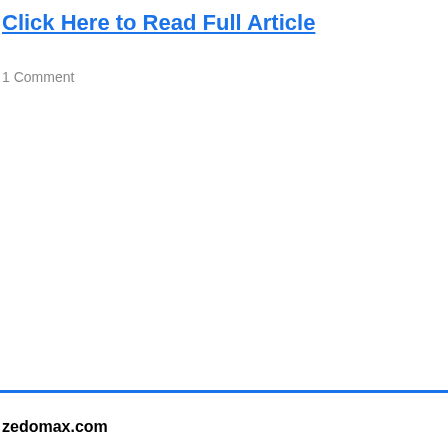Click Here to Read Full Article
1 Comment
zedomax.com